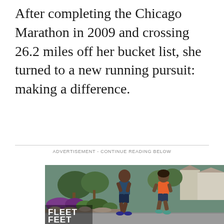After completing the Chicago Marathon in 2009 and crossing 26.2 miles off her bucket list, she turned to a new running pursuit: making a difference.
ADVERTISEMENT - CONTINUE READING BELOW
[Figure (photo): Two runners jogging on a suburban street, man in dark blue tank top and shorts, woman in orange tank top and dark shorts. Fleet Feet logo overlay at bottom left. Advertisement image.]